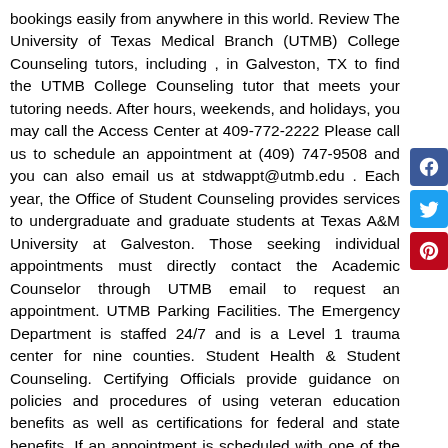bookings easily from anywhere in this world. Review The University of Texas Medical Branch (UTMB) College Counseling tutors, including , in Galveston, TX to find the UTMB College Counseling tutor that meets your tutoring needs. After hours, weekends, and holidays, you may call the Access Center at 409-772-2222 Please call us to schedule an appointment at (409) 747-9508 and you can also email us at stdwappt@utmb.edu . Each year, the Office of Student Counseling provides services to undergraduate and graduate students at Texas A&M University at Galveston. Those seeking individual appointments must directly contact the Academic Counselor through UTMB email to request an appointment. UTMB Parking Facilities. The Emergency Department is staffed 24/7 and is a Level 1 trauma center for nine counties. Student Health & Student Counseling. Certifying Officials provide guidance on policies and procedures of using veteran education benefits as well as certifications for federal and state benefits. If an appointment is scheduled with one of the following residents- Dr. Leyla Choobineh, Dr. Caroline Lam, Dr. Thomas Phan, Dr. Mark Hill, or Dr. Leah Kolar you, The University of Texas Medical Branch at Galveston. 21 were here. At UTMB Health, our mental health professionals are dedicated to helping you and your family on the path to mental health and wellness, with compassionate expertise and evidence-based therapies and treatments. Charity Organization. Organization. UTMB Student Health and Counseling 301 University Blvd., Jamail Student Center 3rd Flr (Next to Old Red) Hands and Feet Medical
[Figure (logo): Facebook social share button icon (blue)]
[Figure (logo): Twitter social share button icon (light blue)]
[Figure (logo): Pinterest social share button icon (red)]